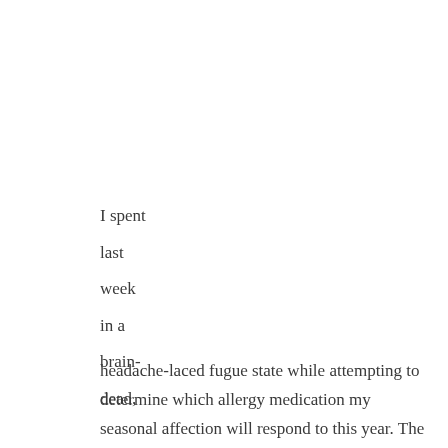I spent
last
week
in a
brain-
dead,
headache-laced fugue state while attempting to determine which allergy medication my seasonal affection will respond to this year. The winner for 2018 is loratadine. Yay! This happens to me every